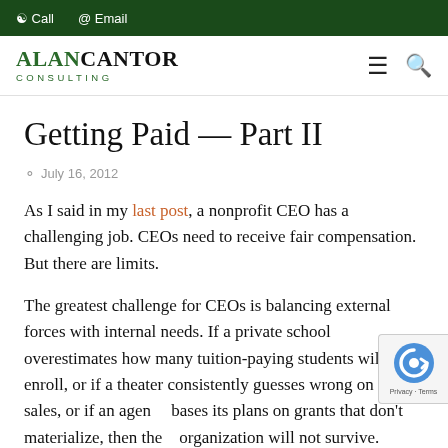Call   Email
[Figure (logo): Alan Cantor Consulting logo with navigation hamburger and search icons]
Getting Paid — Part II
July 16, 2012
As I said in my last post, a nonprofit CEO has a challenging job. CEOs need to receive fair compensation. But there are limits.
The greatest challenge for CEOs is balancing external forces with internal needs. If a private school overestimates how many tuition-paying students will enroll, or if a theater consistently guesses wrong on ticket sales, or if an agency bases its plans on grants that don't materialize, then the organization will not survive. Getting that income-expense balance right requires intense ongoing attention.